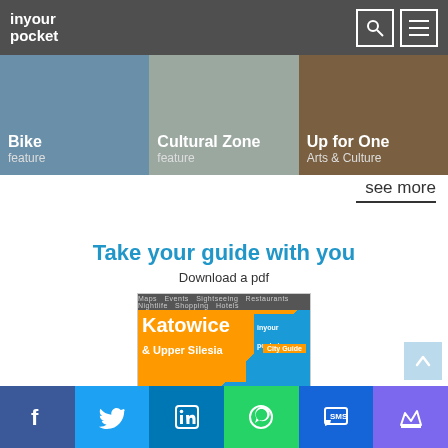inyour pocket
[Figure (screenshot): Navigation cards showing Bike (feature), Cultural Zone (feature), Up for One (Arts & Culture)]
see more
Take your guide with you
Download a pdf
[Figure (photo): Katowice In Your Pocket City Guide cover — Katowice & Upper Silesia]
[Figure (infographic): Social media bar: Facebook, Twitter, LinkedIn, WhatsApp, SMS/review, Crown]